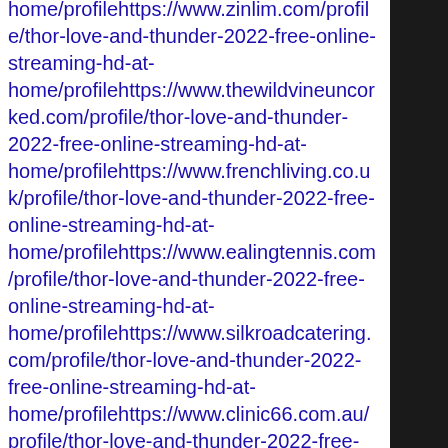home/profilehttps://www.zinlim.com/profile/thor-love-and-thunder-2022-free-online-streaming-hd-at-home/profilehttps://www.thewildvineuncorked.com/profile/thor-love-and-thunder-2022-free-online-streaming-hd-at-home/profilehttps://www.frenchliving.co.uk/profile/thor-love-and-thunder-2022-free-online-streaming-hd-at-home/profilehttps://www.ealingtennis.com/profile/thor-love-and-thunder-2022-free-online-streaming-hd-at-home/profilehttps://www.silkroadcatering.com/profile/thor-love-and-thunder-2022-free-online-streaming-hd-at-home/profilehttps://www.clinic66.com.au/profile/thor-love-and-thunder-2022-free-online-streaming-hd-at-home/profilehttps://www.sorrentovia.org/profile/thor-love-and-thunder-2022-free-online-streaming-hd-at-